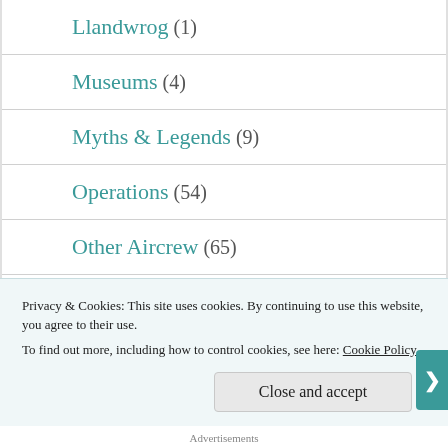Llandwrog (1)
Museums (4)
Myths & Legends (9)
Operations (54)
Other Aircrew (65)
Painting (13)
Pathfinders (2)
Privacy & Cookies: This site uses cookies. By continuing to use this website, you agree to their use.
To find out more, including how to control cookies, see here: Cookie Policy
Close and accept
Advertisements